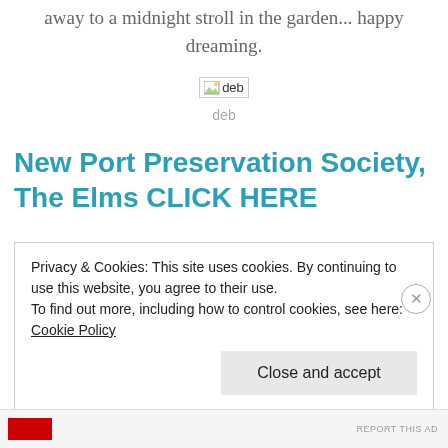away to a midnight stroll in the garden... happy dreaming.
[Figure (photo): Broken image placeholder with alt text 'deb']
deb
New Port Preservation Society, The Elms CLICK HERE
Privacy & Cookies: This site uses cookies. By continuing to use this website, you agree to their use.
To find out more, including how to control cookies, see here:
Cookie Policy
Close and accept